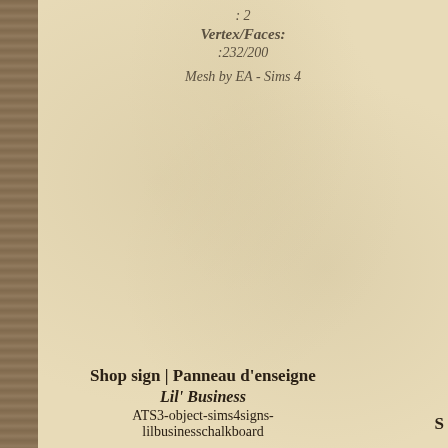: 2
Vertex/Faces:
:232/200
Mesh by EA - Sims 4
Shop sign | Panneau d'enseigne
Lil' Business
ATS3-object-sims4signs-lilbusinesschalkboard
S